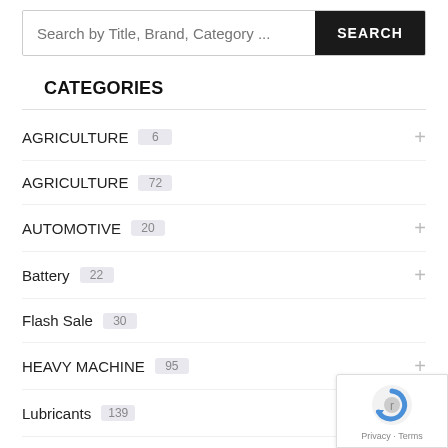Search by Title, Brand, Category ...
CATEGORIES
AGRICULTURE 6
AGRICULTURE 72
AUTOMOTIVE 20
Battery 22
Flash Sale 30
HEAVY MACHINE 95
Lubricants 139
MATADOR 6
On Sale 52